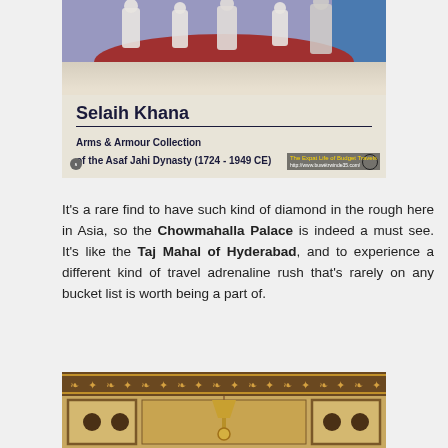[Figure (photo): Photograph of a museum sign reading 'Selaih Khana - Arms & Armour Collection of the Asaf Jahi Dynasty (1724 - 1949 CE)' with people visible above it. Watermark reads 'The Expat Life of Budget Travels' and a URL.]
It's a rare find to have such kind of diamond in the rough here in Asia, so the Chowmahalla Palace is indeed a must see. It's like the Taj Mahal of Hyderabad, and to experience a different kind of travel adrenaline rush that's rarely on any bucket list is worth being a part of.
[Figure (photo): Photograph showing ornate interior ceiling and wall panels of Chowmahalla Palace, with decorative carved border band, paneled walls with circular cutouts, and a chandelier lamp.]